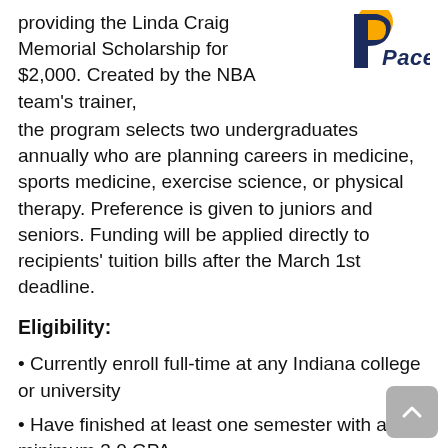providing the Linda Craig Memorial Scholarship for $2,000. Created by the NBA team's trainer, the program selects two undergraduates annually who are planning careers in medicine, sports medicine, exercise science, or physical therapy. Preference is given to juniors and seniors. Funding will be applied directly to recipients' tuition bills after the March 1st deadline.
[Figure (logo): Indiana Pacers logo with stylized P and 'Pacers' text in navy blue and gold]
Eligibility:
Currently enroll full-time at any Indiana college or university
Have finished at least one semester with a minimum 3.0 GPA
Show outstanding character through leadership activity